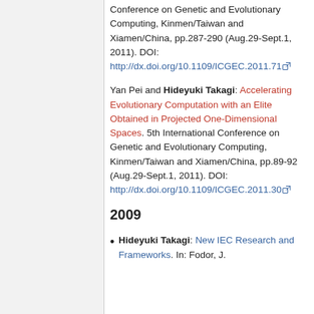Conference on Genetic and Evolutionary Computing, Kinmen/Taiwan and Xiamen/China, pp.287-290 (Aug.29-Sept.1, 2011). DOI: http://dx.doi.org/10.1109/ICGEC.2011.71
Yan Pei and Hideyuki Takagi: Accelerating Evolutionary Computation with an Elite Obtained in Projected One-Dimensional Spaces. 5th International Conference on Genetic and Evolutionary Computing, Kinmen/Taiwan and Xiamen/China, pp.89-92 (Aug.29-Sept.1, 2011). DOI: http://dx.doi.org/10.1109/ICGEC.2011.30
2009
Hideyuki Takagi: New IEC Research and Frameworks. In: Fodor, J. ...